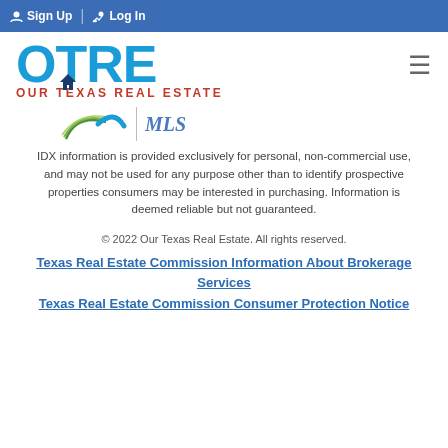Sign Up  Log In
[Figure (logo): OTRE Our Texas Real Estate logo with blue letters and red subtitle, plus MLS logo with swoosh lines]
IDX information is provided exclusively for personal, non-commercial use, and may not be used for any purpose other than to identify prospective properties consumers may be interested in purchasing. Information is deemed reliable but not guaranteed.
© 2022 Our Texas Real Estate. All rights reserved.
Texas Real Estate Commission Information About Brokerage Services
Texas Real Estate Commission Consumer Protection Notice